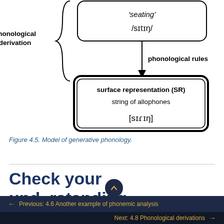[Figure (flowchart): Bottom portion of a flowchart showing the model of generative phonology. A rounded rectangle box at top contains 'seating' /sɪtɪŋ/ with a downward arrow labeled 'phonological rules'. Below is a double-bordered rounded rectangle labeled 'surface representation (SR)' with text 'string of allophones' and IPA [sɪɾɪŋ]. On the left a curly brace spans from the top box down, labeled 'phonological derivation'.]
Figure 4.5. Model of generative phonology.
Check your understanding
← Previous: 4.6 Another example of phonemic analysis
Next: 4.8 Phonological derivations →